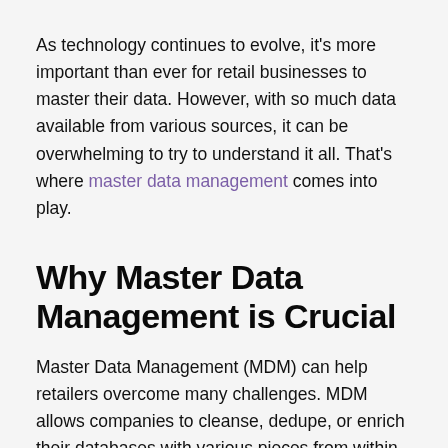As technology continues to evolve, it's more important than ever for retail businesses to master their data. However, with so much data available from various sources, it can be overwhelming to try to understand it all. That's where master data management comes into play.
Why Master Data Management is Crucial
Master Data Management (MDM) can help retailers overcome many challenges. MDM allows companies to cleanse, dedupe, or enrich their databases with various pieces from within an organization's complete sets for better insights on products/customers relevant to today's market trends. Thus, they can better communicate how something could benefit their end-